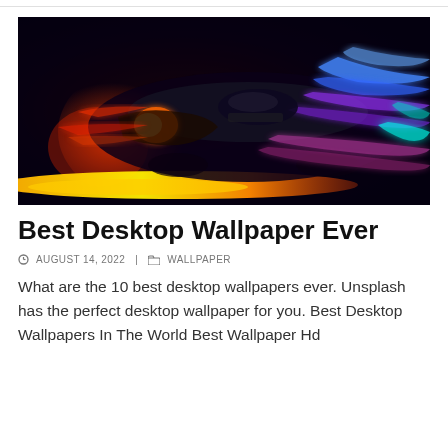[Figure (photo): A neon-lit racing car (Citroën concept) with glowing red, blue, purple, and cyan light trails on a dark background, with a bright yellow-orange streak below the car.]
Best Desktop Wallpaper Ever
AUGUST 14, 2022   WALLPAPER
What are the 10 best desktop wallpapers ever. Unsplash has the perfect desktop wallpaper for you. Best Desktop Wallpapers In The World Best Wallpaper Hd